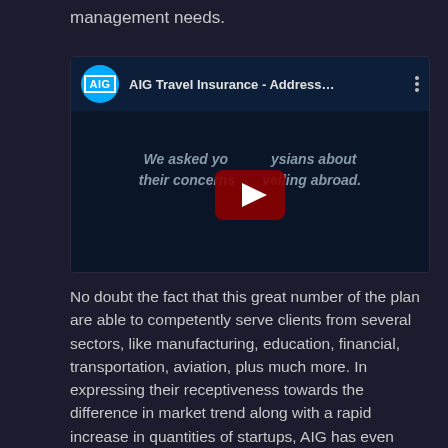management needs.
[Figure (screenshot): YouTube video thumbnail for 'AIG Travel Insurance - Address...' showing AIG logo, video title, and play button overlay with text 'We asked yo...ysians about their concerns ...velling abroad.']
No doubt the fact that this great number of the plan are able to competently serve clients from several sectors, like manufacturing, education, financial, transportation, aviation, plus much more. In expressing their receptiveness towards the difference in market trend along with a rapid increase in quantities of startups, AIG has even